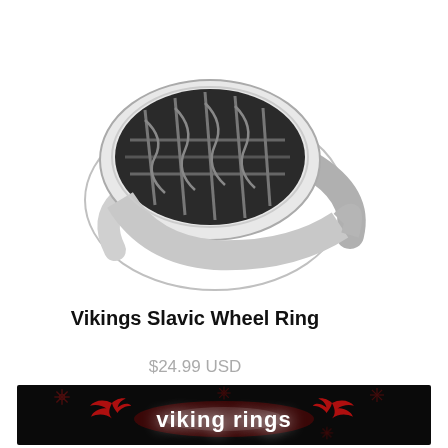[Figure (photo): A silver stainless steel ring with Viking/Celtic knotwork pattern on the face, photographed from above at an angle on a white background.]
Vikings Slavic Wheel Ring
$24.99 USD
[Figure (photo): A dark promotional banner with black background, red snowflake/sun symbols and red bird/raven silhouettes flanking glowing white text that reads 'viking rings'.]